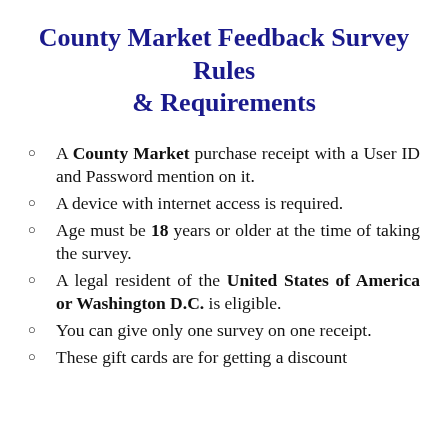County Market Feedback Survey Rules & Requirements
A County Market purchase receipt with a User ID and Password mention on it.
A device with internet access is required.
Age must be 18 years or older at the time of taking the survey.
A legal resident of the United States of America or Washington D.C. is eligible.
You can give only one survey on one receipt.
These gift cards are for getting a discount